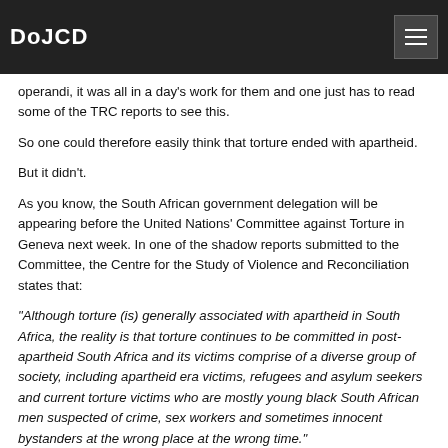DoJCD
operandi, it was all in a day's work for them and one just has to read some of the TRC reports to see this.
So one could therefore easily think that torture ended with apartheid.
But it didn't.
As you know, the South African government delegation will be appearing before the United Nations' Committee against Torture in Geneva next week. In one of the shadow reports submitted to the Committee, the Centre for the Study of Violence and Reconciliation states that:
“Although torture (is) generally associated with apartheid in South Africa, the reality is that torture continues to be committed in post-apartheid South Africa and its victims comprise of a diverse group of society, including apartheid era victims, refugees and asylum seekers and current torture victims who are mostly young black South African men suspected of crime, sex workers and sometimes innocent bystanders at the wrong place at the wrong time.”